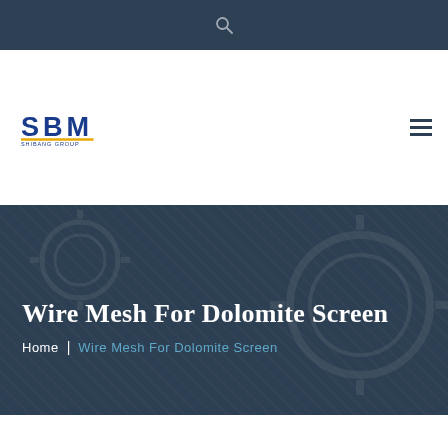[Figure (logo): SBM Shibang Group logo with blue letter marks and yellow underline]
Wire Mesh For Dolomite Screen
Home  |  Wire Mesh For Dolomite Screen